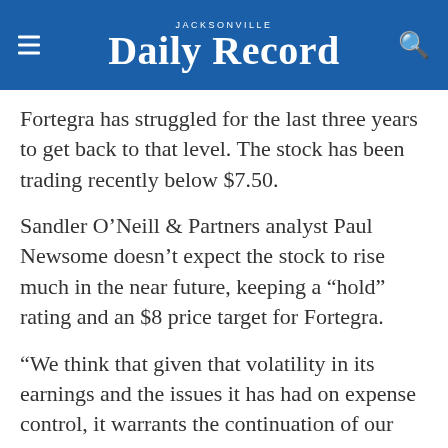JACKSONVILLE Daily Record
Fortegra has struggled for the last three years to get back to that level. The stock has been trading recently below $7.50.
Sandler O’Neill & Partners analyst Paul Newsome doesn’t expect the stock to rise much in the near future, keeping a “hold” rating and an $8 price target for Fortegra.
“We think that given that volatility in its earnings and the issues it has had on expense control, it warrants the continuation of our hold rating,” Newsome said in a research note last week.